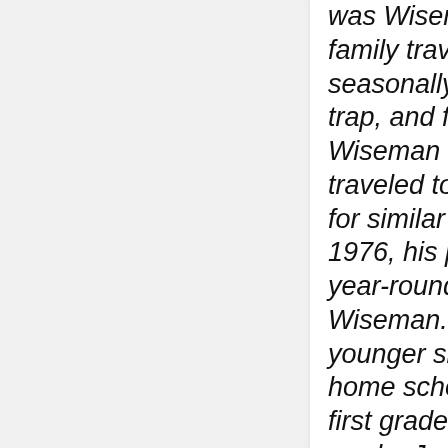was Wiseman. The family traveled seasonally to hunt, trap, and fish. Many Wiseman residents traveled to other areas for similar reasons. In 1976, his parents lived year-round in Wiseman. Heidi, his younger sister, was home schooled from first grade to 12th grade. Jack enjoys the lifestyle of